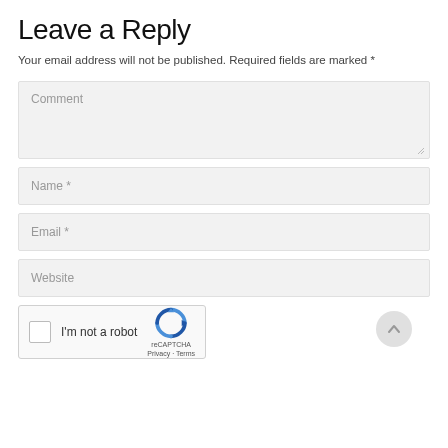Leave a Reply
Your email address will not be published. Required fields are marked *
[Figure (screenshot): Web comment form with fields: Comment (textarea), Name *, Email *, Website, and a reCAPTCHA 'I'm not a robot' checkbox widget]
[Figure (other): Circular scroll-to-top button on the right side]